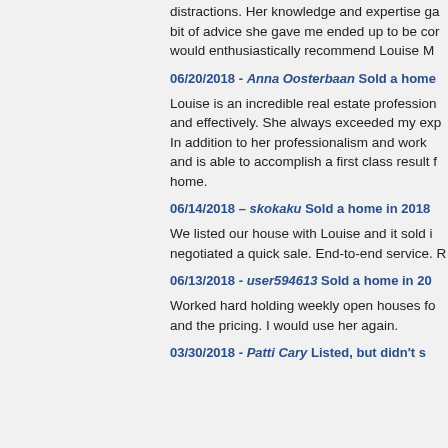distractions. Her knowledge and expertise ga... bit of advice she gave me ended up to be cor... would enthusiastically recommend Louise M...
06/20/2018 - Anna Oosterbaan Sold a home...
Louise is an incredible real estate profession... and effectively. She always exceeded my exp... In addition to her professionalism and work ... and is able to accomplish a first class result f... home.
06/14/2018 – skokaku Sold a home in 2018...
We listed our house with Louise and it sold i... negotiated a quick sale. End-to-end service. R...
06/13/2018 - user594613 Sold a home in 20...
Worked hard holding weekly open houses fo... and the pricing. I would use her again.
03/30/2018 - Patti Cary Listed, but didn't s...